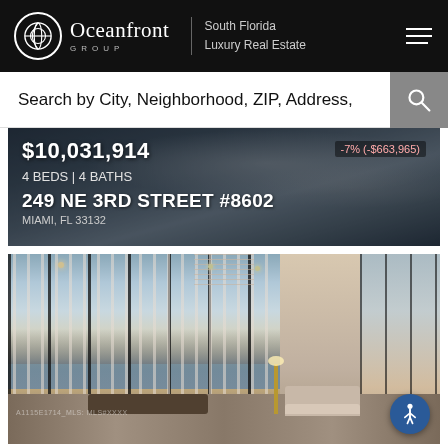Oceanfront GROUP | South Florida Luxury Real Estate
Search by City, Neighborhood, ZIP, Address,
$10,031,914  -7% (-$663,965)
4 BEDS | 4 BATHS
249 NE 3RD STREET #8602
MIAMI, FL 33132
[Figure (photo): Luxury high-rise interior showing floor-to-ceiling windows with panoramic city and waterway views, sheer curtains, chandelier, dining table, and seating area]
A1115E1714_MLS: MLS#XXXX